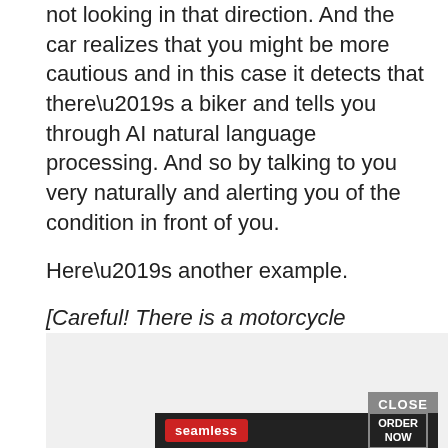looking in that direction. Maybe your head is not looking in that direction. And the car realizes that you might be more cautious and in this case it detects that there’s a biker and tells you through AI natural language processing. And so by talking to you very naturally and alerting you of the condition in front of you.
Here’s another example.
[Careful! There is a motorcycle approaching the center lane]
[Figure (screenshot): Advertisement overlay with gray background and a Seamless food delivery ad showing pizza, Seamless branding, and ORDER NOW button, with a CLOSE button.]